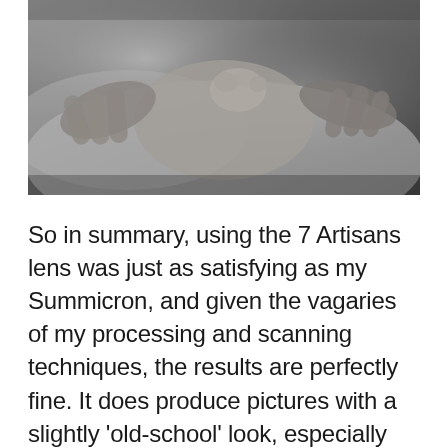[Figure (photo): Black and white close-up photograph of a newborn baby being held by adult hands, with soft fabric in the background.]
So in summary, using the 7 Artisans lens was just as satisfying as my Summicron, and given the vagaries of my processing and scanning techniques, the results are perfectly fine. It does produce pictures with a slightly 'old-school' look, especially when shot wide open, but that's not necessarily a bad thing, and completely expected from a lens that can trace its lineage back to an old design (Sonnar apparently). Most of us shoot